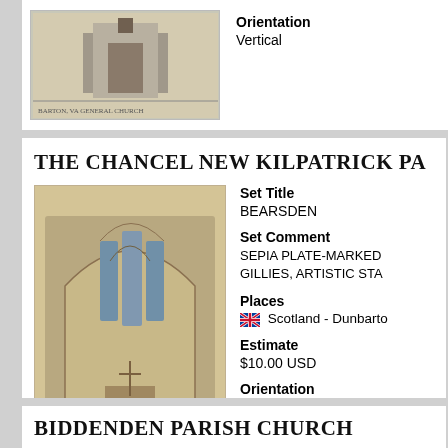[Figure (photo): Partial view of a historic church building exterior, sepia/grayscale postcard image with caption text at bottom]
Orientation
Vertical
THE CHANCEL NEW KILPATRICK PA
[Figure (photo): Interior of a church chancel showing Gothic arched windows with stained glass, altar, and baptismal font. Sepia toned postcard. Caption reads: The Chancel New Kilpatrick Parish Church, Bearsden]
Set Title
BEARSDEN
Set Comment
SEPIA PLATE-MARKED GILLIES, ARTISTIC STA
Places
Scotland - Dunbarto
Estimate
$10.00 USD
Orientation
Vertical
BIDDENDEN PARISH CHURCH